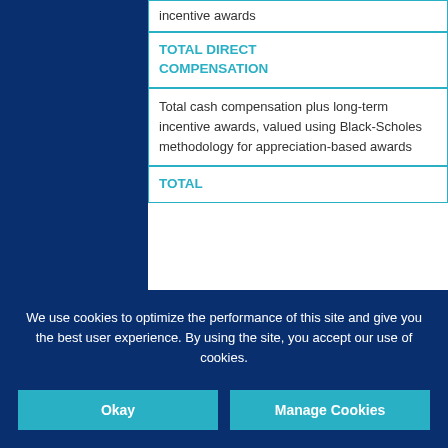| Component |
| --- |
| incentive awards |
| TOTAL DIRECT COMPENSATION
Total cash compensation plus long-term incentive awards, valued using Black-Scholes methodology for appreciation-based awards |
| TOTAL |
We use cookies to optimize the performance of this site and give you the best user experience. By using the site, you accept our use of cookies.